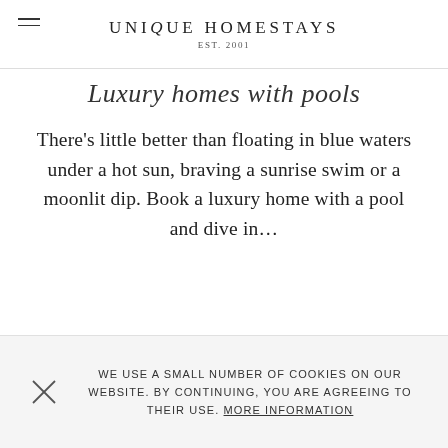UNIQUE HOMESTAYS EST. 2001
Luxury homes with pools
There’s little better than floating in blue waters under a hot sun, braving a sunrise swim or a moonlit dip. Book a luxury home with a pool and dive in…
Armed with a flamboyant swimsuit and all of the necessary ingredients to mix up a hedonistic cocktail hour, you’re all set to escape the feverish heat of the city this summer and head towards a luxury holiday home with the most important of all
WE USE A SMALL NUMBER OF COOKIES ON OUR WEBSITE. BY CONTINUING, YOU ARE AGREEING TO THEIR USE. MORE INFORMATION